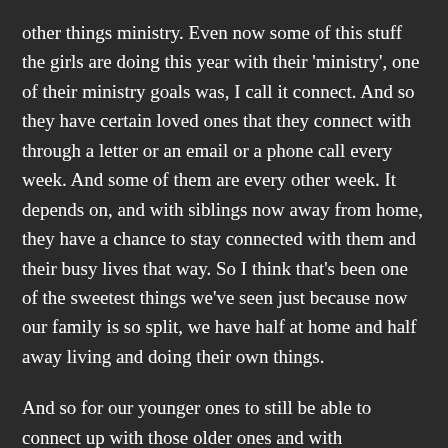other things ministry. Even now some of this stuff the girls are doing this year with their 'ministry', one of their ministry goals was, I call it connect. And so they have certain loved ones that they connect with through a letter or an email or a phone call every week. And some of them are every other week. It depends on, and with siblings now away from home, they have a chance to stay connected with them and their busy lives that way. So I think that's been one of the sweetest things we've seen just because now our family is so split, we have half at home and half away living and doing their own things.
And so for our younger ones to still be able to connect up with those older ones and with grandparents living away and that sort of thing.
Yvette:    That is so cool. I love that so much. Okay, so what's next?